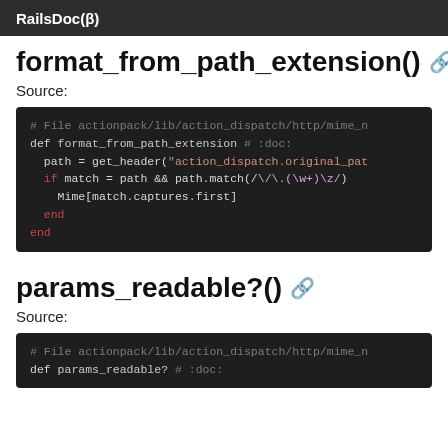RailsDoc(β)
format_from_path_extension()
Source:
[Figure (screenshot): Dark-themed code block showing Ruby method format_from_path_extension with syntax highlighting. Comments in gray, keywords in red, string in orange, regex in purple.]
params_readable?()
Source:
[Figure (screenshot): Dark-themed code block showing beginning of Ruby method params_readable? with comment line and def line.]